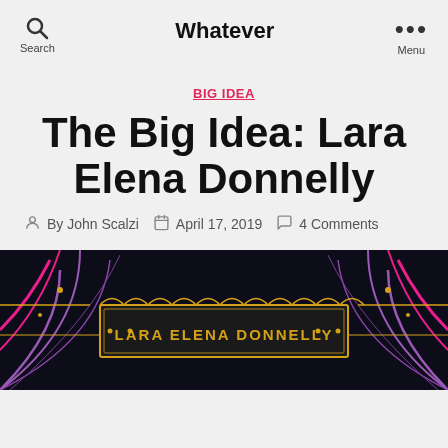Whatever
BIG IDEA
The Big Idea: Lara Elena Donnelly
By John Scalzi   April 17, 2019   4 Comments
[Figure (illustration): Book cover art for Lara Elena Donnelly, showing ornate art-deco style design with purple and gold colors on a dark background. Text reads LARA ELENA DONNELLY across a marquee-style banner.]